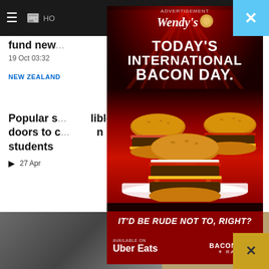HO
fund new ...able'
19 Oct 03:32
NEW ZEALAND
Popular s... lible doors to c... n students
27 Apr
[Figure (photo): Screenshot of a news website partially visible behind a Wendy's advertisement overlay. The ad features: Wendy's logo with text 'ADVERTISEMENT' at top, 'TODAY'S INTERNATIONAL BACON DAY.' headline in large white bold text, three Baconator burgers on a red background, tagline 'IT'D BE RUDE NOT TO, RIGHT?', 'AVAILABLE ON Uber Eats' and 'THE BACONATOR RANGE' branding at the bottom. The news page visible behind shows article headlines and a close X button in top-right cyan/blue area, and a bottom gold X button.]
Wendy's advertisement overlay on a news website, promoting the Baconator Range on International Bacon Day, available on Uber Eats.